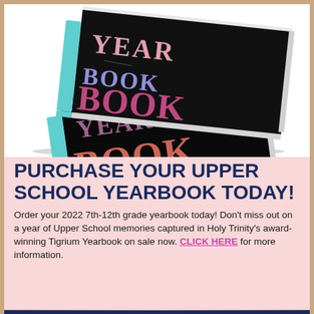[Figure (photo): Stack of two school yearbooks with black covers featuring colorful 'YEARBOOK' text in pink, purple, blue, and coral letters, with teal/turquoise binding, on a white background.]
PURCHASE YOUR UPPER SCHOOL YEARBOOK TODAY!
Order your 2022 7th-12th grade yearbook today! Don't miss out on a year of Upper School memories captured in Holy Trinity's award-winning Tigrium Yearbook on sale now. CLICK HERE for more information.